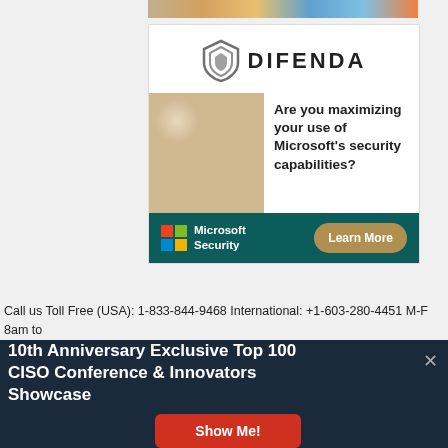[Figure (photo): Colorful image strip at top of page]
[Figure (logo): Difenda logo with shield icon and company name]
[Figure (photo): Two business people shaking hands over a laptop]
Are you maximizing your use of Microsoft's security capabilities?
[Figure (logo): Microsoft Security logo with colored grid and Learn More button on dark teal background]
Call us Toll Free (USA): 1-833-844-9468 International: +1-603-280-4451 M-F 8am to 6pm EST Contact us: marketing@cyberdefensemagazine.com
10th Anniversary Exclusive Top 100 CISO Conference & Innovators Showcase
Show Me!